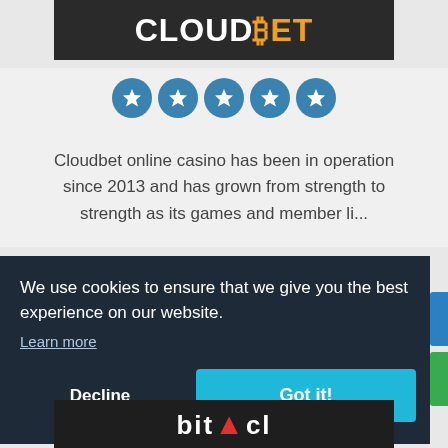[Figure (logo): Cloudbet logo: white bold text 'CLOUD' and orange bold text 'BET' with orange bitcoin symbol, on dark background]
[Figure (infographic): Five blue circular star rating badges in a row]
Cloudbet online casino has been in operation since 2013 and has grown from strength to strength as its games and member li...
We use cookies to ensure that we give you the best experience on our website.
Learn more
Decline
Got it!
[Figure (logo): Partial logo visible at bottom of page on dark background]